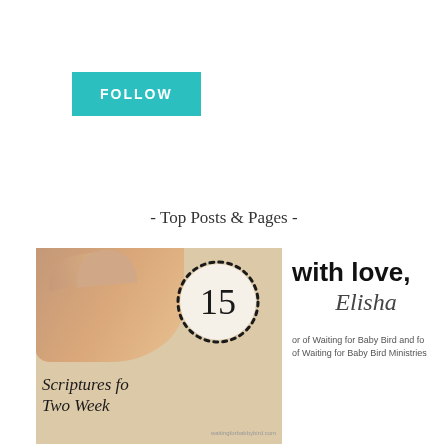FOLLOW
- Top Posts & Pages -
[Figure (photo): Image showing a hand holding something, with text '15 Scriptures fo Two Week' and a dotted circle, scripture blog post thumbnail from waitingforbabbybird.com]
with love, Elisha
or of Waiting for Baby Bird and fo of Waiting for Baby Bird Ministries
[Figure (photo): Bottom left thumbnail image, partially visible, white background]
[Figure (photo): Bottom right thumbnail image, partially visible, beige/tan background with floral illustration]